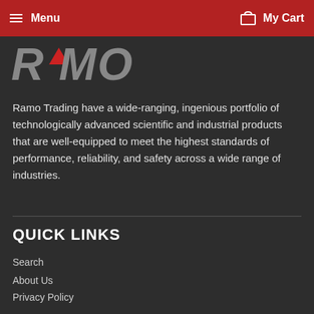Menu  My Cart
[Figure (logo): Ramo Trading logo with stylized text 'RAMO' in grey with a red arrow/chevron accent]
Ramo Trading have a wide-ranging, ingenious portfolio of technologically advanced scientific and industrial products that are well-equipped to meet the highest standards of performance, reliability, and safety across a wide range of industries.
QUICK LINKS
Search
About Us
Privacy Policy
Terms Of Servies
Refund & Return Policy